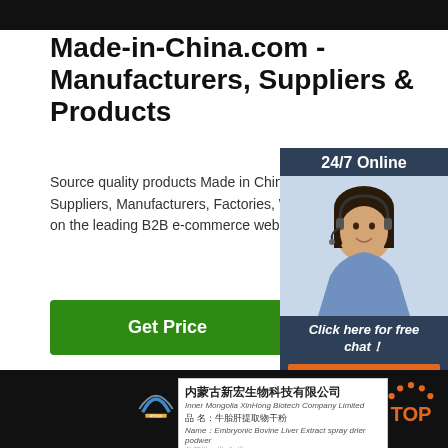[Figure (screenshot): Top black bar of website screenshot]
Made-in-China.com - Manufacturers, Suppliers & Products
Source quality products Made in China. Find reliable Suppliers, Manufacturers, Factories, Wholesalers on the leading B2B e-commerce website Made-in
[Figure (infographic): Green Get Price button]
[Figure (infographic): 24/7 Online sidebar widget with customer service photo, 'Click here for free chat!' and QUOTATION button in orange]
[Figure (screenshot): Bottom dark section showing certificate card from Inner Mongolia XinHong Biotech Company Limited with Chinese and English product name for Embryonic Bovine Liver Extract spray drier powder, plus orange TOP badge]